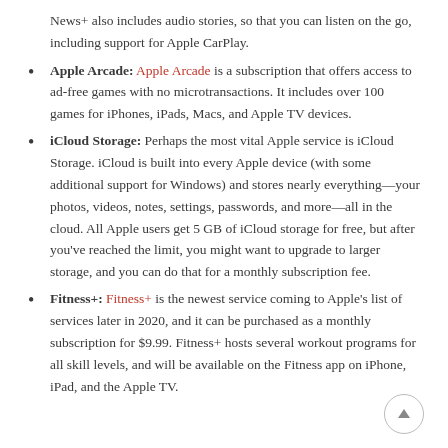News+ also includes audio stories, so that you can listen on the go, including support for Apple CarPlay.
Apple Arcade: Apple Arcade is a subscription that offers access to ad-free games with no microtransactions. It includes over 100 games for iPhones, iPads, Macs, and Apple TV devices.
iCloud Storage: Perhaps the most vital Apple service is iCloud Storage. iCloud is built into every Apple device (with some additional support for Windows) and stores nearly everything—your photos, videos, notes, settings, passwords, and more—all in the cloud. All Apple users get 5 GB of iCloud storage for free, but after you've reached the limit, you might want to upgrade to larger storage, and you can do that for a monthly subscription fee.
Fitness+: Fitness+ is the newest service coming to Apple's list of services later in 2020, and it can be purchased as a monthly subscription for $9.99. Fitness+ hosts several workout programs for all skill levels, and will be available on the Fitness app on iPhone, iPad, and the Apple TV.